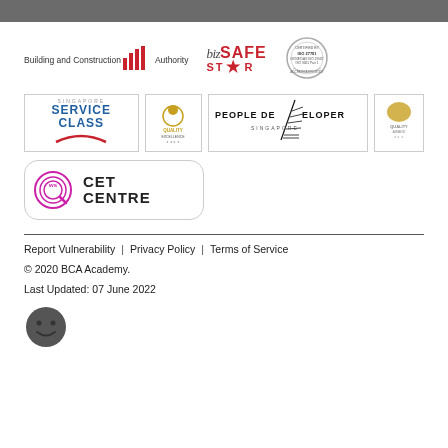[Figure (logo): Building and Construction Authority (BCA) logo with red chevron icon]
[Figure (logo): bizSAFE STAR logo in red and black]
[Figure (logo): ISO certified circular stamp logo]
[Figure (logo): Singapore Service Class logo in blue with red arc]
[Figure (logo): Quality Excellence logo with circular design]
[Figure (logo): People Developer Singapore logo with fern/leaf pattern]
[Figure (logo): Quality Award logo]
[Figure (logo): WSQ CET Centre logo with circular WS icon]
Report Vulnerability | Privacy Policy | Terms of Service
© 2020 BCA Academy.
Last Updated: 07 June 2022
[Figure (illustration): Smiley face feedback icon]